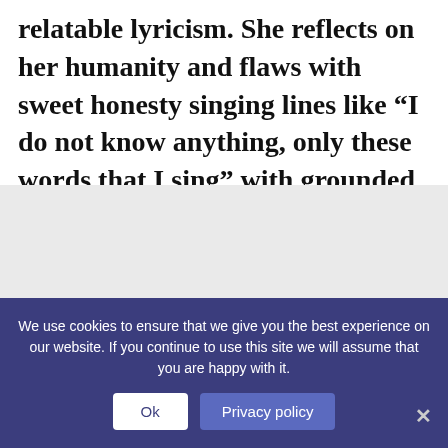relatable lyricism. She reflects on her humanity and flaws with sweet honesty singing lines like “I do not know anything, only these words that I sing” with grounded charm that endears us to her instantly.
We use cookies to ensure that we give you the best experience on our website. If you continue to use this site we will assume that you are happy with it.